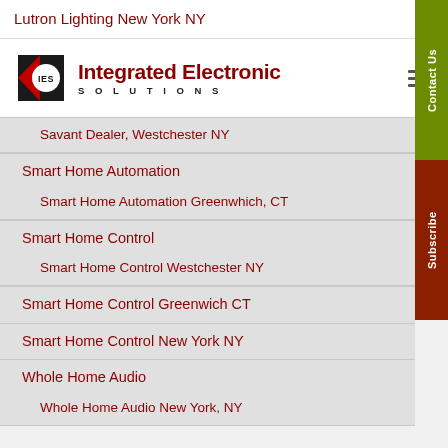Lutron Lighting New York NY
[Figure (logo): Integrated Electronic Solutions (IES) logo with red chevron/shield and company name]
Savant Dealer, Westchester NY
Smart Home Automation
Smart Home Automation Greenwhich, CT
Smart Home Control
Smart Home Control Westchester NY
Smart Home Control Greenwich CT
Smart Home Control New York NY
Whole Home Audio
Whole Home Audio New York, NY